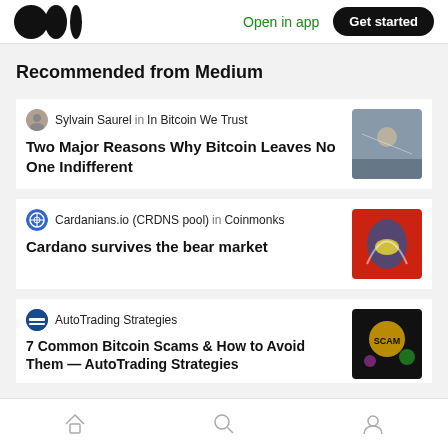Medium logo | Open in app | Get started
Recommended from Medium
Sylvain Saurel in In Bitcoin We Trust
Two Major Reasons Why Bitcoin Leaves No One Indifferent
[Figure (photo): Article thumbnail for Bitcoin article]
Cardanians.io (CRDNS pool) in Coinmonks
Cardano survives the bear market
[Figure (photo): Article thumbnail for Cardano bear market article]
AutoTrading Strategies
7 Common Bitcoin Scams & How to Avoid Them — AutoTrading Strategies
[Figure (photo): Article thumbnail for Bitcoin scams article]
Home | Search | Profile navigation icons